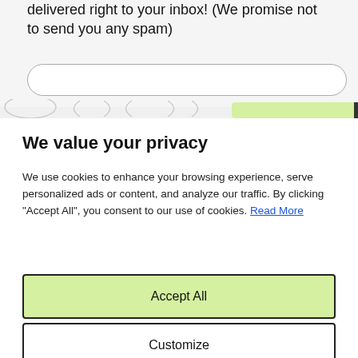delivered right to your inbox! (We promise not to send you any spam)
[Figure (screenshot): Email input field with rounded corners and a partially visible subscribe/button row below it]
We value your privacy
We use cookies to enhance your browsing experience, serve personalized ads or content, and analyze our traffic. By clicking "Accept All", you consent to our use of cookies. Read More
Accept All
Customize
Reject All